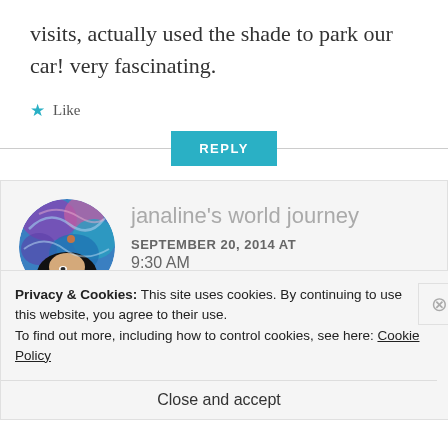visits, actually used the shade to park our car! very fascinating.
★ Like
REPLY
[Figure (photo): Circular avatar photo of blog commenter janaline, showing a person with artistic blue and purple abstract background]
janaline's world journey
SEPTEMBER 20, 2014 AT
9:30 AM
Privacy & Cookies: This site uses cookies. By continuing to use this website, you agree to their use.
To find out more, including how to control cookies, see here: Cookie Policy
Close and accept